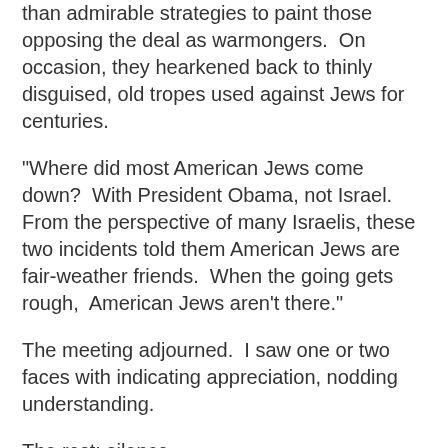than admirable strategies to paint those opposing the deal as warmongers.  On occasion, they hearkened back to thinly disguised, old tropes used against Jews for centuries.
"Where did most American Jews come down?  With President Obama, not Israel.  From the perspective of many Israelis, these two incidents told them American Jews are fair-weather friends.  When the going gets rough,  American Jews aren't there."
The meeting adjourned.  I saw one or two faces with indicating appreciation, nodding understanding.
The rest: silence.
Here in Jerusalem we can see the demonstrations in the U.S. by those that would love for Israel to disappear. But we do not see the demonstrations of years gone by, of proud, public, unafraid Jews in places like New York, Los Angeles, Chicago, Philadelphia, San Francisco.
Yes, there are a few brave, lonely, determined voices.  But